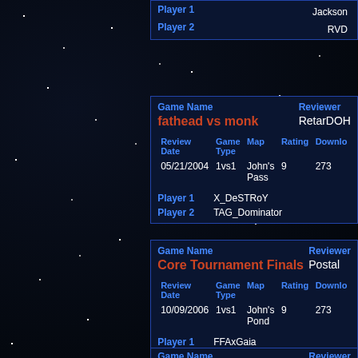| Game Name | Reviewer |
| --- | --- |
| Player 1 | Jackson |
| Player 2 | RVD |
| Game Name | Reviewer |
| --- | --- |
| fathead vs monk | RetarDOH |
| Review Date | Game Type | Map | Rating | Downloads |
| 05/21/2004 | 1vs1 | John's Pass | 9 | 273 |
| Player 1 | X_DeSTRoY |
| Player 2 | TAG_Dominator |
| Game Name | Reviewer |
| --- | --- |
| Core Tournament Finals | Postal |
| Review Date | Game Type | Map | Rating | Downloads |
| 10/09/2006 | 1vs1 | John's Pond | 9 | 273 |
| Player 1 | FFAxGaia |
| Player 2 | Mean_Fiddler (Emac) |
| Game Name | Reviewer |
| --- | --- |
| Fathead cheats and still | PRO_Silence |